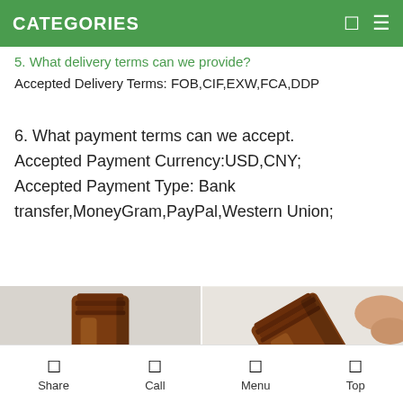CATEGORIES
5. What delivery terms can we provide?
Accepted Delivery Terms: FOB,CIF,EXW,FCA,DDP
6. What payment terms can we accept.
Accepted Payment Currency:USD,CNY;
Accepted Payment Type: Bank transfer,MoneyGram,PayPal,Western Union;
[Figure (photo): Close-up of an amber glass bottle cap/neck from the side]
[Figure (photo): Close-up of an amber glass bottle being held, showing the cap/neck area]
Share   Call   Menu   Top